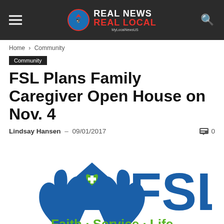REAL NEWS REAL LOCAL
Home › Community
Community
FSL Plans Family Caregiver Open House on Nov. 4
Lindsay Hansen  –  09/01/2017   0
[Figure (logo): FSL (Family Service Life) logo showing two blue hands holding a house with a green heart and cross, with large blue letters FSL and tagline 'Faith · Service · Life' in green]